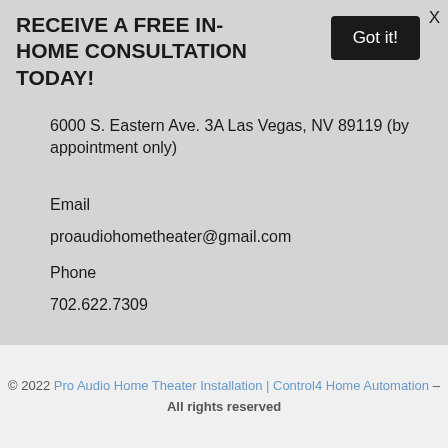RECEIVE A FREE IN-HOME CONSULTATION TODAY!
Got it!
X
6000 S. Eastern Ave. 3A Las Vegas, NV 89119 (by appointment only)
Email
proaudiohometheater@gmail.com
Phone
702.622.7309
© 2022 Pro Audio Home Theater Installation | Control4 Home Automation – All rights reserved